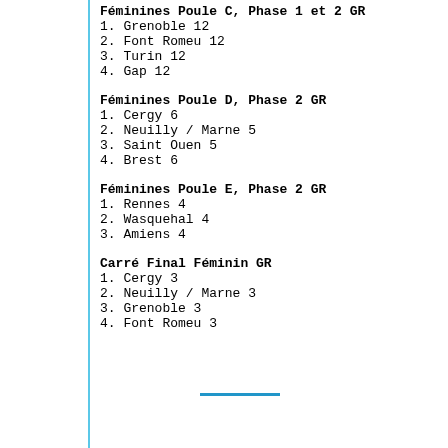Féminines Poule C, Phase 1 et 2 GR
1.  Grenoble          12
2.  Font Romeu        12
3.  Turin             12
4.  Gap               12
Féminines Poule D, Phase 2     GR
1.  Cergy              6
2.  Neuilly / Marne    5
3.  Saint Ouen         5
4.  Brest              6
Féminines Poule E, Phase 2     GR
1.  Rennes             4
2.  Wasquehal          4
3.  Amiens             4
Carré Final Féminin            GR
1.  Cergy              3
2.  Neuilly / Marne    3
3.  Grenoble           3
4.  Font Romeu         3